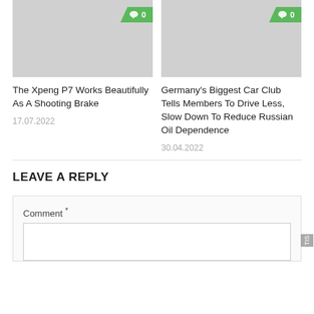[Figure (photo): Gray placeholder image for article about Xpeng P7 with green comment badge showing 0 comments]
[Figure (photo): Gray placeholder image for article about Germany's Biggest Car Club with green comment badge showing 0 comments]
The Xpeng P7 Works Beautifully As A Shooting Brake
17.07.2022
Germany's Biggest Car Club Tells Members To Drive Less, Slow Down To Reduce Russian Oil Dependence
30.04.2022
LEAVE A REPLY
Comment *